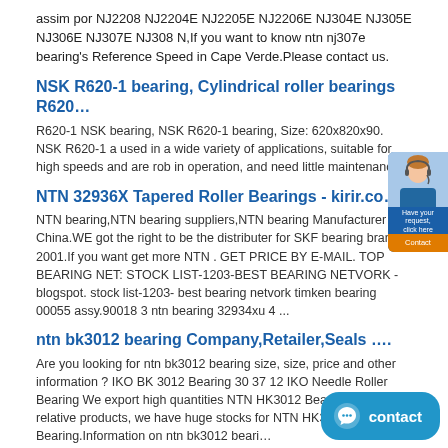assim por NJ2208 NJ2204E NJ2205E NJ2206E NJ304E NJ305E NJ306E NJ307E NJ308 N,If you want to know ntn nj307e bearing's Reference Speed in Cape Verde.Please contact us.
NSK R620-1 bearing, Cylindrical roller bearings R620…
R620-1 NSK bearing, NSK R620-1 bearing, Size: 620x820x90. NSK R620-1 a used in a wide variety of applications, suitable for high speeds and are rob in operation, and need little maintenance.
NTN 32936X Tapered Roller Bearings - kirir.co….
NTN bearing,NTN bearing suppliers,NTN bearing Manufacturer in China.WE got the right to be the distributer for SKF bearing brand in 2001.If you want get more NTN . GET PRICE BY E-MAIL. TOP BEARING NET: STOCK LIST-1203-BEST BEARING NETVORK - blogspot. stock list-1203- best bearing netvork timken bearing 00055 assy.90018 3 ntn bearing 32934xu 4 ...
ntn bk3012 bearing Company,Retailer,Seals ….
Are you looking for ntn bk3012 bearing size, size, price and other information ? IKO BK 3012 Bearing 30 37 12 IKO Needle Roller Bearing We export high quantities NTN HK3012 Bearing and relative products, we have huge stocks for NTN HK3012 Bearing.Information on ntn bk3012 beari…
Roulements à rouleaux coniques: 1. Types, conceptions et ….